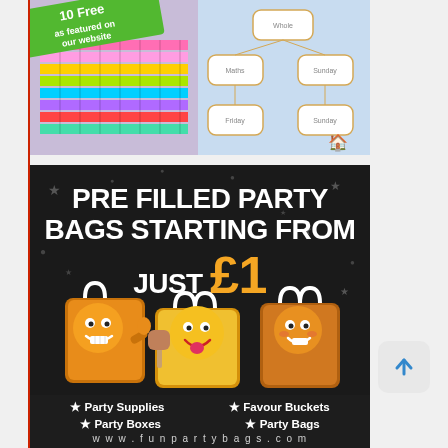[Figure (screenshot): Top composite image showing colored markers/pens grid on left with green '10 Free' banner, and a mind-map/planning worksheet on blue background on right]
[Figure (infographic): Dark background advertisement for pre-filled party bags. Text: 'PRE FILLED PARTY BAGS STARTING FROM JUST £1' with cartoon party bag characters. Footer lists: Party Supplies, Favour Buckets, Party Boxes, Party Bags, and website www.funpartybags.com]